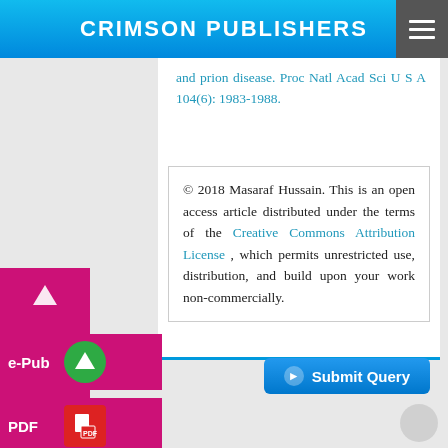CRIMSON PUBLISHERS
and prion disease. Proc Natl Acad Sci U S A 104(6): 1983-1988.
© 2018 Masaraf Hussain. This is an open access article distributed under the terms of the Creative Commons Attribution License , which permits unrestricted use, distribution, and build upon your work non-commercially.